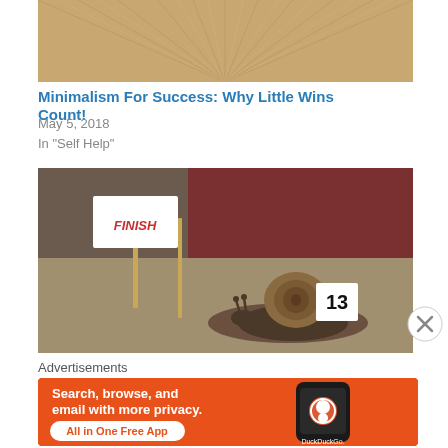[Figure (photo): Top portion of a wooden table/surface with radial wood grain lines, cropped]
Minimalism For Success: Why Little Wins Count!
May 5, 2018
In "Self Help"
[Figure (photo): A snail wearing a number 13 card on its shell, approaching a finish line flag made from a toothpick and white paper, on a sandy/concrete surface]
Advertisements
[Figure (infographic): DuckDuckGo advertisement banner with orange background. Text: Search, browse, and email with more privacy. All in One Free App. Shows DuckDuckGo logo and phone mockup.]